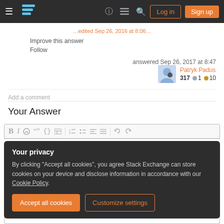Stack Exchange navigation bar with hamburger menu, logo, help, chat, search icons, Log in and Sign up buttons
Improve this answer
Follow
answered Sep 26, 2017 at 8:47
Patryk Padus 317 ○1 ○10
Add a comment
Your Answer
[Figure (screenshot): Text editor toolbar with bold, italic, link, blockquote, code, image, numbered list, bullet list, alignment and undo/redo icons]
Your privacy
By clicking "Accept all cookies", you agree Stack Exchange can store cookies on your device and disclose information in accordance with our Cookie Policy.
Accept all cookies
Customize settings